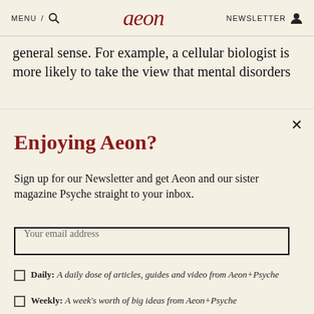MENU / [search icon] aeon NEWSLETTER [account icon]
general sense. For example, a cellular biologist is more likely to take the view that mental disorders
Enjoying Aeon?
Sign up for our Newsletter and get Aeon and our sister magazine Psyche straight to your inbox.
Your email address
Daily: A daily dose of articles, guides and video from Aeon+Psyche
Weekly: A week's worth of big ideas from Aeon+Psyche
Sign up now
I'm already subscribed
Privacy policy